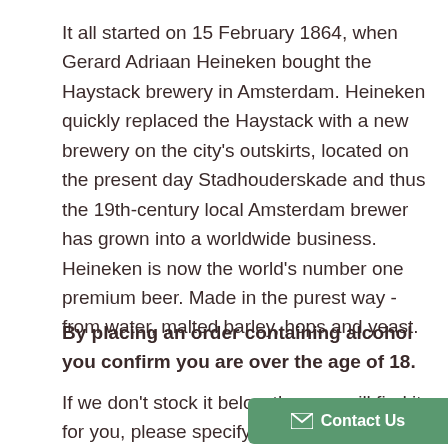It all started on 15 February 1864, when Gerard Adriaan Heineken bought the Haystack brewery in Amsterdam. Heineken quickly replaced the Haystack with a new brewery on the city's outskirts, located on the present day Stadhouderskade and thus the 19th-century local Amsterdam brewer has grown into a worldwide business. Heineken is now the world's number one premium beer. Made in the purest way - from water, malted barley, hops and yeast.
By placing an order containing alcohol you confirm you are over the age of 18.
If we don't stock it below then we will find it for you, please specify requests in "notes